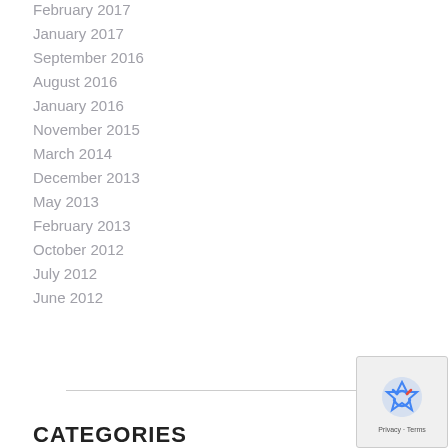February 2017
January 2017
September 2016
August 2016
January 2016
November 2015
March 2014
December 2013
May 2013
February 2013
October 2012
July 2012
June 2012
CATEGORIES